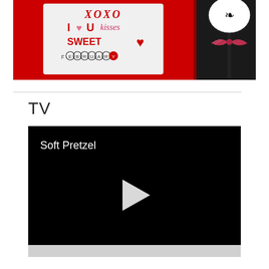[Figure (photo): Valentine's Day themed photo showing a white decorative sign with red text reading XOXO, I heart U, kisses, SWEET, heart, FEBRUARY on a red background, with a black and white floral lollipop with a red and white striped ribbon bow on the right.]
TV
[Figure (screenshot): Black video player thumbnail showing the text 'Soft Pretzel' in white at the top left, with a white play button triangle in the center. A gray controls bar is visible at the bottom.]